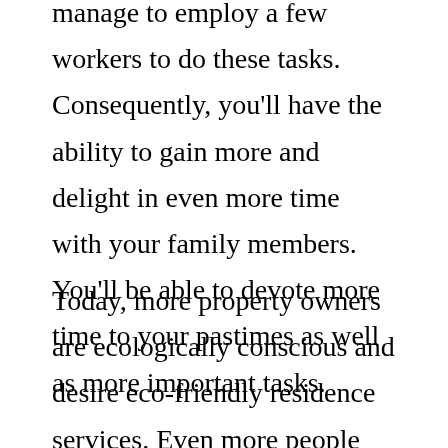manage to employ a few workers to do these tasks. Consequently, you'll have the ability to gain more and delight in even more time with your family members. You'll be able to devote more time to your pastimes as well as more important tasks.
Today, more property owners are ecologically conscious and desire eco-friendly residence services. Even more people are functioning from residence, which indicates they'll invest even more time in the house. The more time